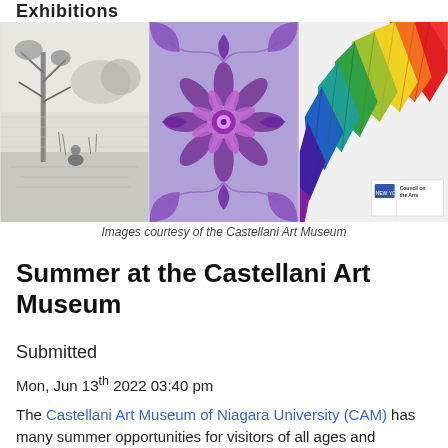Exhibitions
[Figure (photo): Three artwork images side by side: a black-and-white etching/sketch of a landscape with a figure, a colorful Celtic/Islamic decorative pattern in purple and blue, and a photo of colorful folded paper sculptures in rainbow colors. A small New York Council on the Arts badge appears in the lower right of the third image.]
Images courtesy of the Castellani Art Museum
Summer at the Castellani Art Museum
Submitted
Mon, Jun 13th 2022 03:40 pm
The Castellani Art Museum of Niagara University (CAM) has many summer opportunities for visitors of all ages and interests.